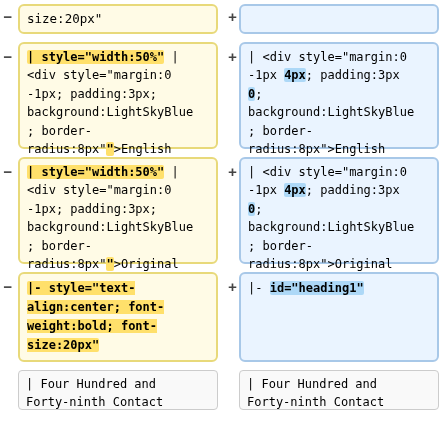size:20px"
| style="width:50%" | <div style="margin:0 -1px; padding:3px; background:LightSkyBlue; border-radius:8px"">English Translation</div>
| <div style="margin:0 -1px 4px; padding:3px 0; background:LightSkyBlue; border-radius:8px">English Translation</div>
| style="width:50%" | <div style="margin:0 -1px; padding:3px; background:LightSkyBlue; border-radius:8px"">Original Swiss-German</div>
| <div style="margin:0 -1px 4px; padding:3px 0; background:LightSkyBlue; border-radius:8px">Original Swiss-German</div>
|- style="text-align:center; font-weight:bold; font-size:20px"
|- id="heading1"
| Four Hundred and Forty-ninth Contact
| Four Hundred and Forty-ninth Contact